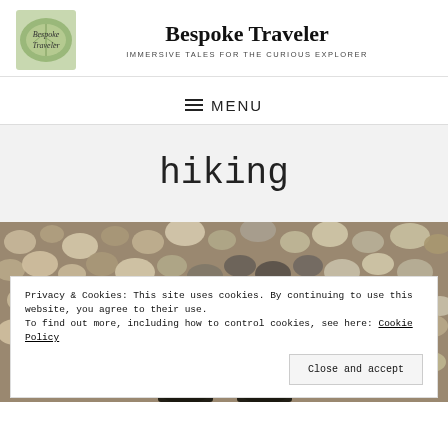[Figure (logo): Bespoke Traveler logo — square illustration with cursive text on a green leaf background]
Bespoke Traveler
IMMERSIVE TALES FOR THE CURIOUS EXPLORER
≡ MENU
hiking
[Figure (photo): Close-up photo of river pebbles and stones on the ground, with two boot tips visible at the bottom center]
Privacy & Cookies: This site uses cookies. By continuing to use this website, you agree to their use.
To find out more, including how to control cookies, see here: Cookie Policy
Close and accept